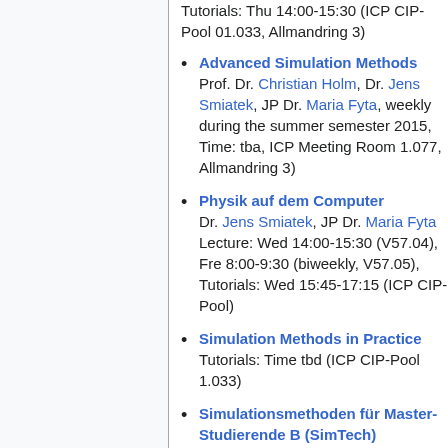Tutorials: Thu 14:00-15:30 (ICP CIP-Pool 01.033, Allmandring 3)
Advanced Simulation Methods – Prof. Dr. Christian Holm, Dr. Jens Smiatek, JP Dr. Maria Fyta, weekly during the summer semester 2015, Time: tba, ICP Meeting Room 1.077, Allmandring 3)
Physik auf dem Computer – Dr. Jens Smiatek, JP Dr. Maria Fyta – Lecture: Wed 14:00-15:30 (V57.04), Fre 8:00-9:30 (biweekly, V57.05), Tutorials: Wed 15:45-17:15 (ICP CIP-Pool)
Simulation Methods in Practice – Tutorials: Time tbd (ICP CIP-Pool 1.033)
Simulationsmethoden für Master-Studierende B (SimTech)